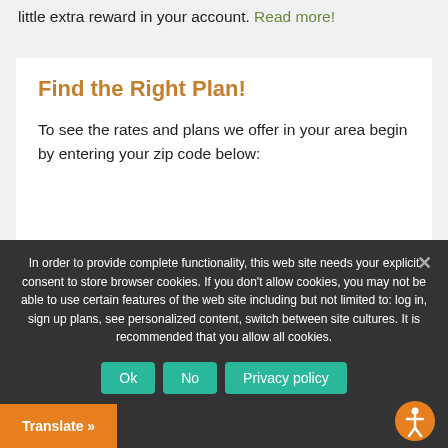little extra reward in your account. Read more!
Find the Right Plan!
To see the rates and plans we offer in your area begin by entering your zip code below:
In order to provide complete functionality, this web site needs your explicit consent to store browser cookies. If you don't allow cookies, you may not be able to use certain features of the web site including but not limited to: log in, sign up plans, see personalized content, switch between site cultures. It is recommended that you allow all cookies.